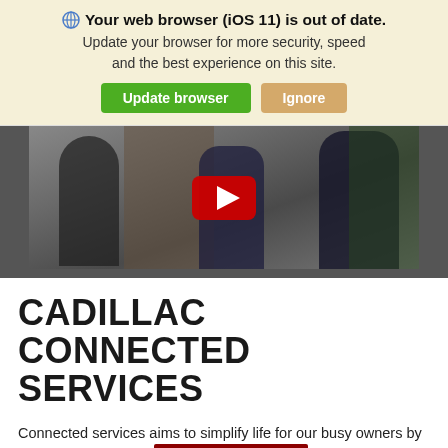🌐 Your web browser (iOS 11) is out of date. Update your browser for more security, speed and the best experience on this site. [Update browser] [Ignore]
[Figure (screenshot): Video thumbnail showing two people at a house doorway, with a red YouTube play button overlay]
CADILLAC CONNECTED SERVICES
Connected services aims to simplify life for our busy owners by providing easy tools t... ership and stay connected while on the...